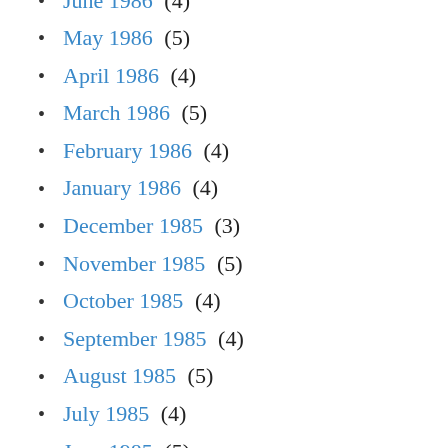June 1986 (4)
May 1986 (5)
April 1986 (4)
March 1986 (5)
February 1986 (4)
January 1986 (4)
December 1985 (3)
November 1985 (5)
October 1985 (4)
September 1985 (4)
August 1985 (5)
July 1985 (4)
June 1985 (5)
May 1985 (4)
April 1985 (4)
March 1985 (5)
February 1985 (4)